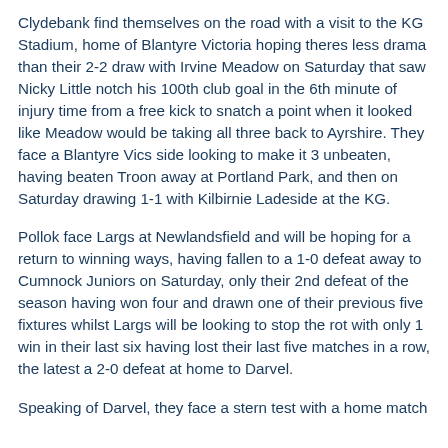Clydebank find themselves on the road with a visit to the KG Stadium, home of Blantyre Victoria hoping theres less drama than their 2-2 draw with Irvine Meadow on Saturday that saw Nicky Little notch his 100th club goal in the 6th minute of injury time from a free kick to snatch a point when it looked like Meadow would be taking all three back to Ayrshire. They face a Blantyre Vics side looking to make it 3 unbeaten, having beaten Troon away at Portland Park, and then on Saturday drawing 1-1 with Kilbirnie Ladeside at the KG.
Pollok face Largs at Newlandsfield and will be hoping for a return to winning ways, having fallen to a 1-0 defeat away to Cumnock Juniors on Saturday, only their 2nd defeat of the season having won four and drawn one of their previous five fixtures whilst Largs will be looking to stop the rot with only 1 win in their last six having lost their last five matches in a row, the latest a 2-0 defeat at home to Darvel.
Speaking of Darvel, they face a stern test with a home match